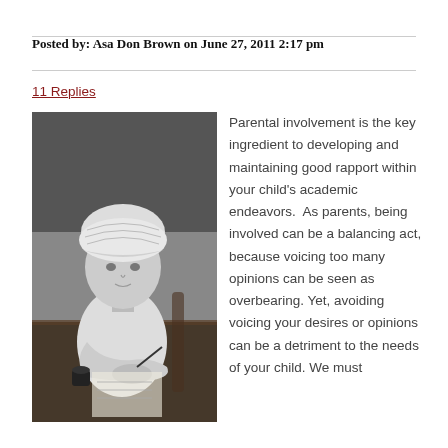Posted by: Asa Don Brown on June 27, 2011 2:17 pm
11 Replies
[Figure (photo): Black and white photograph of a young child wearing a bonnet/hat, sitting at a desk and writing with a quill or pen, with an inkwell nearby.]
Parental involvement is the key ingredient to developing and maintaining good rapport within your child's academic endeavors.  As parents, being involved can be a balancing act, because voicing too many opinions can be seen as overbearing. Yet, avoiding voicing your desires or opinions can be a detriment to the needs of your child. We must